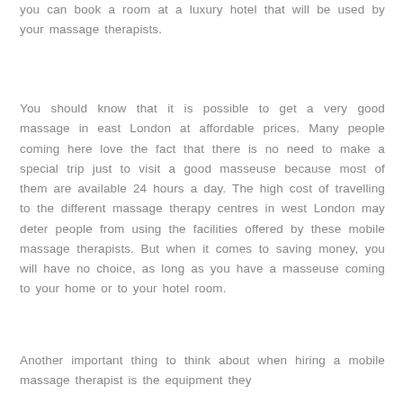you can book a room at a luxury hotel that will be used by your massage therapists.
You should know that it is possible to get a very good massage in east London at affordable prices. Many people coming here love the fact that there is no need to make a special trip just to visit a good masseuse because most of them are available 24 hours a day. The high cost of travelling to the different massage therapy centres in west London may deter people from using the facilities offered by these mobile massage therapists. But when it comes to saving money, you will have no choice, as long as you have a masseuse coming to your home or to your hotel room.
Another important thing to think about when hiring a mobile massage therapist is the equipment they